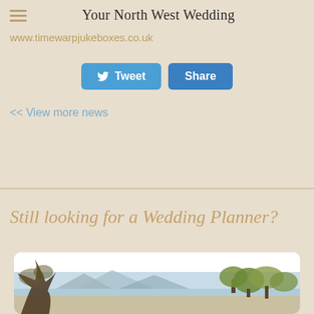Your North West Wedding
www.timewarpjukeboxes.co.uk
[Figure (screenshot): Tweet and Share social media buttons]
<< View more news
Still looking for a Wedding Planner?
[Figure (photo): Landscape photo showing a lake scene with trees and mountains in the background]